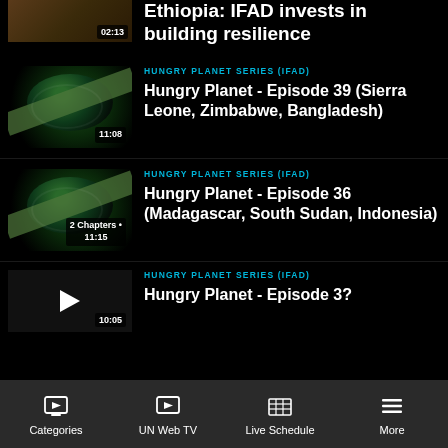[Figure (screenshot): Partial video thumbnail showing landscape with time badge 02:13]
Ethiopia: IFAD invests in building resilience
[Figure (screenshot): Video thumbnail showing globe graphic, time badge 11:08]
HUNGRY PLANET SERIES (IFAD)
Hungry Planet - Episode 39 (Sierra Leone, Zimbabwe, Bangladesh)
[Figure (screenshot): Video thumbnail showing globe graphic, badge '2 Chapters • 11:15']
HUNGRY PLANET SERIES (IFAD)
Hungry Planet - Episode 36 (Madagascar, South Sudan, Indonesia)
[Figure (screenshot): Plain black thumbnail with play button and time badge 10:05]
HUNGRY PLANET SERIES (IFAD)
Hungry Planet - Episode 3?
Categories | UN Web TV | Live Schedule | More